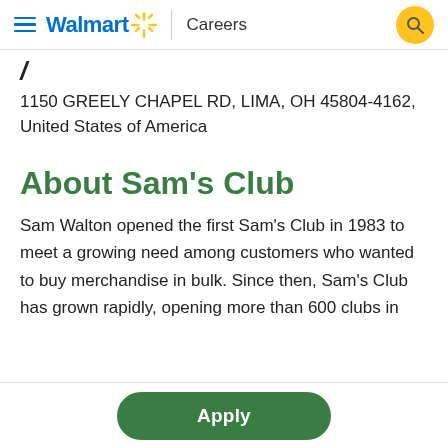Walmart Careers
1150 GREELY CHAPEL RD, LIMA, OH 45804-4162, United States of America
About Sam's Club
Sam Walton opened the first Sam's Club in 1983 to meet a growing need among customers who wanted to buy merchandise in bulk. Since then, Sam's Club has grown rapidly, opening more than 600 clubs in
Apply